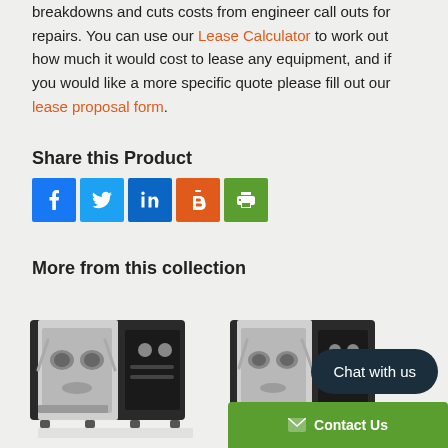breakdowns and cuts costs from engineer call outs for repairs. You can use our Lease Calculator to work out how much it would cost to lease any equipment, and if you would like a more specific quote please fill out our lease proposal form.
Share this Product
[Figure (infographic): Social sharing icons: Facebook, Twitter, LinkedIn, Blogger/b, Print]
More from this collection
[Figure (photo): Espresso machine - black and silver, left product]
[Figure (photo): Espresso machine - black and silver, right product]
Chat with us
Contact Us